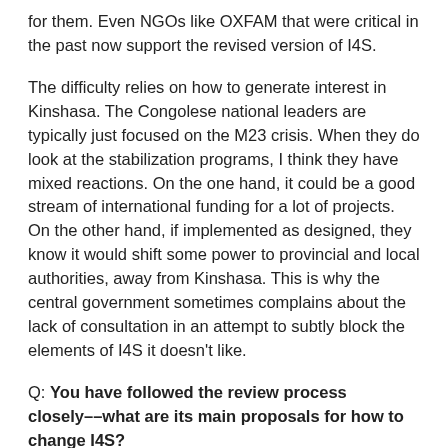for them. Even NGOs like OXFAM that were critical in the past now support the revised version of I4S.
The difficulty relies on how to generate interest in Kinshasa. The Congolese national leaders are typically just focused on the M23 crisis. When they do look at the stabilization programs, I think they have mixed reactions. On the one hand, it could be a good stream of international funding for a lot of projects. On the other hand, if implemented as designed, they know it would shift some power to provincial and local authorities, away from Kinshasa. This is why the central government sometimes complains about the lack of consultation in an attempt to subtly block the elements of I4S it doesn't like.
Q: You have followed the review process closely––what are its main proposals for how to change I4S?
In the past, the focus was on restoring state authority in areas vacated by rebels through the building of infrastructure and the deployment of state agents. These agents were often unpaid and the provincial authorities had no resources